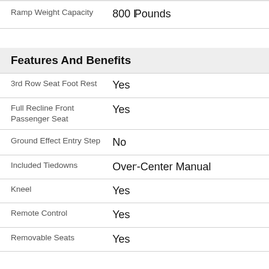| Feature | Value |
| --- | --- |
| Ramp Weight Capacity | 800 Pounds |
| Features And Benefits |  |
| 3rd Row Seat Foot Rest | Yes |
| Full Recline Front Passenger Seat | Yes |
| Ground Effect Entry Step | No |
| Included Tiedowns | Over-Center Manual |
| Kneel | Yes |
| Remote Control | Yes |
| Removable Seats | Yes |